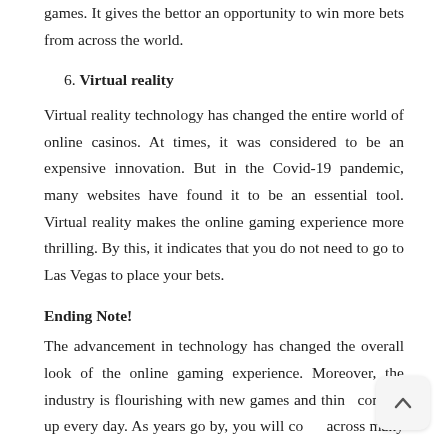massive over better jackpots, by integrating different games. It gives the bettor an opportunity to win more bets from across the world.
6. Virtual reality
Virtual reality technology has changed the entire world of online casinos. At times, it was considered to be an expensive innovation. But in the Covid-19 pandemic, many websites have found it to be an essential tool. Virtual reality makes the online gaming experience more thrilling. By this, it indicates that you do not need to go to Las Vegas to place your bets.
Ending Note!
The advancement in technology has changed the overall look of the online gaming experience. Moreover, the industry is flourishing with new games and things coming up every day. As years go by, you will come across many changes in the online gambling industry